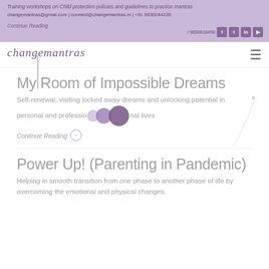Training workshops on Child protection policies and guidelines to practice mantra
changemantras@gmail.com | connect@changemantras.in | +91 9830244220
Continue Reading / 9830610450
[Figure (logo): changemantras logo in cursive purple font with underline decoration]
My Room of Impossible Dreams
Self-renewal, visiting locked away dreams and unlocking potential in personal and professional lives
Continue Reading →
Power Up! (Parenting in Pandemic)
Helping in smooth transition from one phase to another phase of life by overcoming the emotional and physical changes.